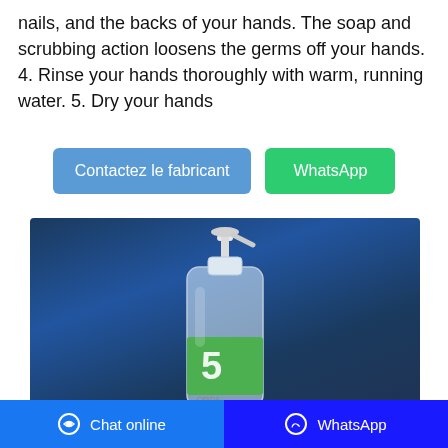nails, and the backs of your hands. The soap and scrubbing action loosens the germs off your hands. 4. Rinse your hands thoroughly with warm, running water. 5. Dry your hands
Contactez le fabricant | WhatsApp
[Figure (photo): A clear pump-top hand sanitizer bottle with green label showing a number 5 and CE/FDA marks, photographed against a dark blue background]
Guidelines for Hand Hygiene in
Chat online | WhatsApp